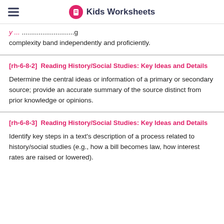Kids Worksheets
...complexity band independently and proficiently.
[rh-6-8-2]  Reading History/Social Studies: Key Ideas and Details
Determine the central ideas or information of a primary or secondary source; provide an accurate summary of the source distinct from prior knowledge or opinions.
[rh-6-8-3]  Reading History/Social Studies: Key Ideas and Details
Identify key steps in a text's description of a process related to history/social studies (e.g., how a bill becomes law, how interest rates are raised or lowered).